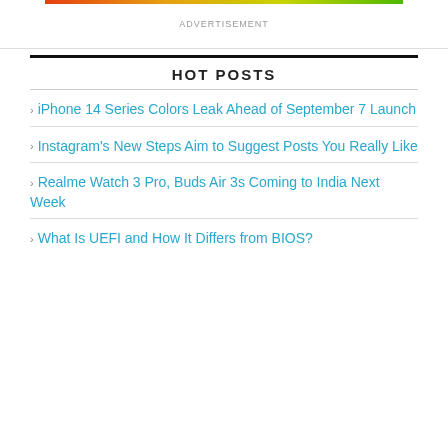ADVERTISEMENT
HOT POSTS
iPhone 14 Series Colors Leak Ahead of September 7 Launch
Instagram's New Steps Aim to Suggest Posts You Really Like
Realme Watch 3 Pro, Buds Air 3s Coming to India Next Week
What Is UEFI and How It Differs from BIOS?